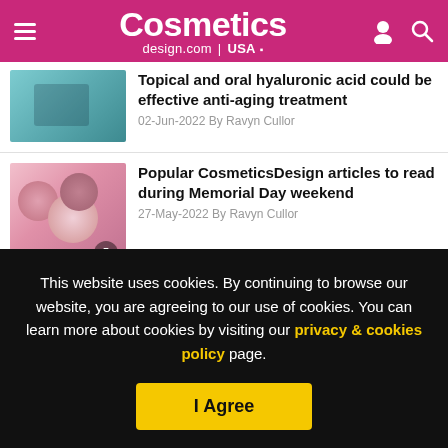Cosmetics design.com | USA
Topical and oral hyaluronic acid could be effective anti-aging treatment
02-Jun-2022 By Ravyn Cullor
Popular CosmeticsDesign articles to read during Memorial Day weekend
27-May-2022 By Ravyn Cullor
STUDY
This website uses cookies. By continuing to browse our website, you are agreeing to our use of cookies. You can learn more about cookies by visiting our privacy & cookies policy page.